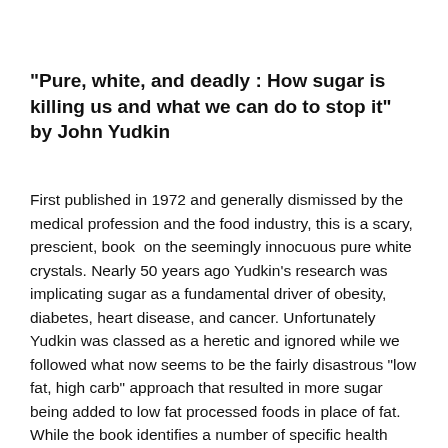"Pure, white, and deadly : How sugar is killing us and what we can do to stop it" by John Yudkin
First published in 1972 and generally dismissed by the medical profession and the food industry, this is a scary, prescient, book  on the seemingly innocuous pure white crystals. Nearly 50 years ago Yudkin's research was implicating sugar as a fundamental driver of obesity, diabetes, heart disease, and cancer. Unfortunately Yudkin was classed as a heretic and ignored while we followed what now seems to be the fairly disastrous "low fat, high carb" approach that resulted in more sugar being added to low fat processed foods in place of fat. While the book identifies a number of specific health problems identified by his research at that time, what is even more scary is how many of his predictions have now become reality. Here is a